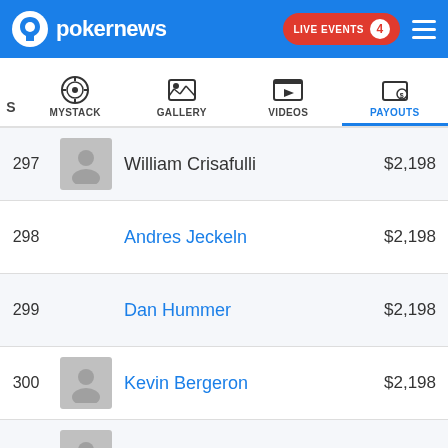pokernews — LIVE EVENTS 4
| Place | Name | Payout |
| --- | --- | --- |
| 297 | William Crisafulli | $2,198 |
| 298 | Andres Jeckeln | $2,198 |
| 299 | Dan Hummer | $2,198 |
| 300 | Kevin Bergeron | $2,198 |
| 301 | Eddie Matthews | $2,198 |
| 302 | … | $2,198 |